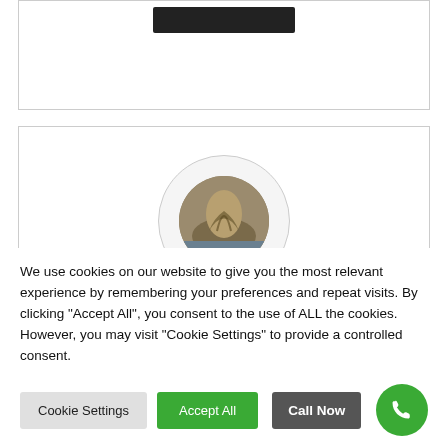[Figure (other): Dark rectangular bar at top of card, partially visible]
[Figure (photo): Circular profile photo showing a nature/tree roots image, inside a light gray circle border]
District 6 Service Center
We use cookies on our website to give you the most relevant experience by remembering your preferences and repeat visits. By clicking "Accept All", you consent to the use of ALL the cookies. However, you may visit "Cookie Settings" to provide a controlled consent.
Cookie Settings | Accept All | Call Now